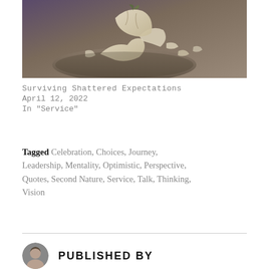[Figure (photo): A cracked or shattered egg shell on a plate, sepia/vintage toned photograph]
Surviving Shattered Expectations
April 12, 2022
In "Service"
Tagged Celebration, Choices, Journey, Leadership, Mentality, Optimistic, Perspective, Quotes, Second Nature, Service, Talk, Thinking, Vision
PUBLISHED BY